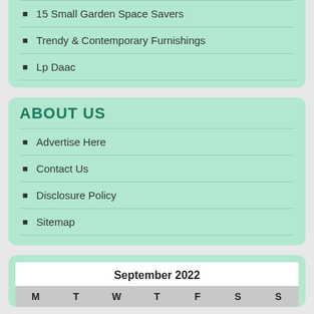15 Small Garden Space Savers
Trendy & Contemporary Furnishings
Lp Daac
ABOUT US
Advertise Here
Contact Us
Disclosure Policy
Sitemap
| M | T | W | T | F | S | S |
| --- | --- | --- | --- | --- | --- | --- |